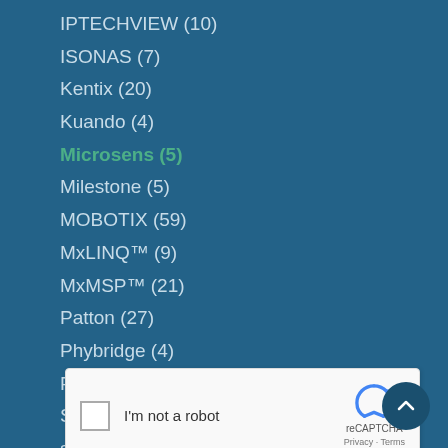IPTECHVIEW (10)
ISONAS (7)
Kentix (20)
Kuando (4)
Microsens (5)
Milestone (5)
MOBOTIX (59)
MxLINQ™ (9)
MxMSP™ (21)
Patton (27)
Phybridge (4)
Planet (9)
Sangoma (2)
snom Technology (14)
UniData (6)
Wavestore (1)
Yealink (9)
[Figure (other): reCAPTCHA widget with checkbox and 'I'm not a robot' label, reCAPTCHA logo, Privacy and Terms links]
[Figure (other): Scroll to top button, circular dark blue button with upward chevron arrow]